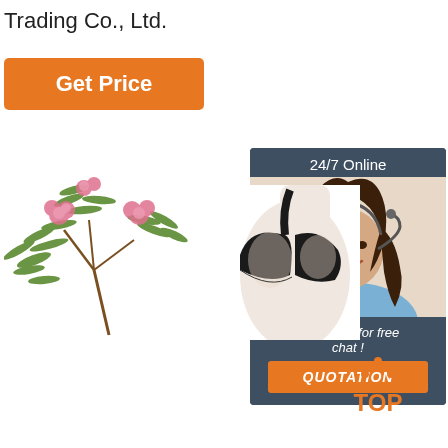Trading Co., Ltd.
[Figure (other): Orange 'Get Price' button]
[Figure (other): 24/7 Online chat widget with customer service representative photo, 'Click here for free chat!' text, and orange QUOTATION button]
[Figure (photo): Mimosa plant with pink flowers and green feathery leaves on white background]
[Figure (photo): Person wearing a black bra/top, cropped view showing shoulder and chest area on white background]
[Figure (other): Orange dotted 'TOP' back-to-top icon with upward arrow dots]